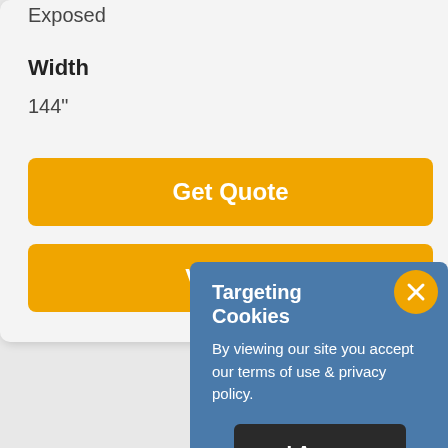Exposed
Width
144"
Get Quote
View All
Targeting Cookies
By viewing our site you accept our terms of use & privacy policy.
I Agree